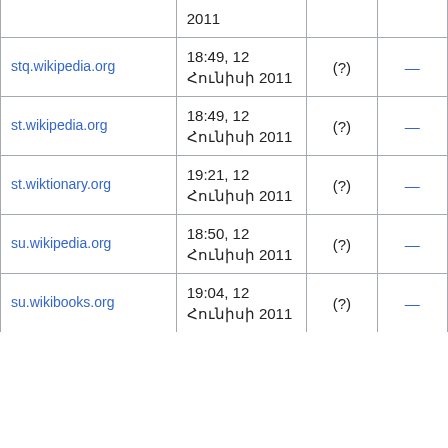|  | 2011 |  |  |
| stq.wikipedia.org | 18:49, 12 Հունիսի 2011 | (?) | — |
| st.wikipedia.org | 18:49, 12 Հունիսի 2011 | (?) | — |
| st.wiktionary.org | 19:21, 12 Հունիսի 2011 | (?) | — |
| su.wikipedia.org | 18:50, 12 Հունիսի 2011 | (?) | — |
| su.wikibooks.org | 19:04, 12 Հունիսի 2011 | (?) | — |